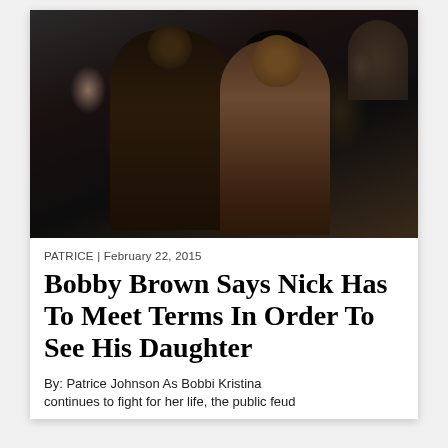[Figure (photo): Two people seated together at what appears to be an event. A man wearing sunglasses and a pinstripe suit with a tie on the left, and a woman in a strapless beige/champagne dress on the right. Both have small photo pins on their clothing. Background shows other attendees in a dark venue.]
PATRICE | February 22, 2015
Bobby Brown Says Nick Has To Meet Terms In Order To See His Daughter
By: Patrice Johnson As Bobbi Kristina continues to fight for her life, the public feud